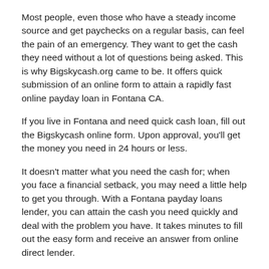Most people, even those who have a steady income source and get paychecks on a regular basis, can feel the pain of an emergency. They want to get the cash they need without a lot of questions being asked. This is why Bigskycash.org came to be. It offers quick submission of an online form to attain a rapidly fast online payday loan in Fontana CA.
If you live in Fontana and need quick cash loan, fill out the Bigskycash online form. Upon approval, you'll get the money you need in 24 hours or less.
It doesn't matter what you need the cash for; when you face a financial setback, you may need a little help to get you through. With a Fontana payday loans lender, you can attain the cash you need quickly and deal with the problem you have. It takes minutes to fill out the easy form and receive an answer from online direct lender.
Payday Loans Fontana CA Industry
When it comes to the cash-lending industry in Fontana, you need to deal with a loan lender you trust. Bigskycash can help